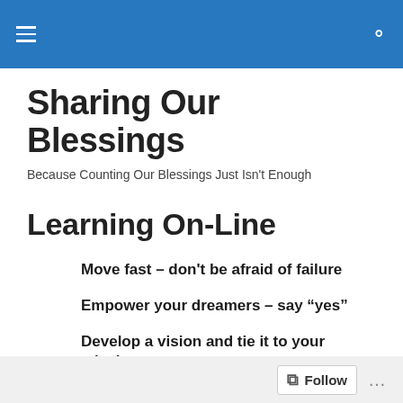Sharing Our Blessings
Because Counting Our Blessings Just Isn't Enough
Learning On-Line
Move fast – don't be afraid of failure
Empower your dreamers – say “yes”
Develop a vision and tie it to your mission
Follow